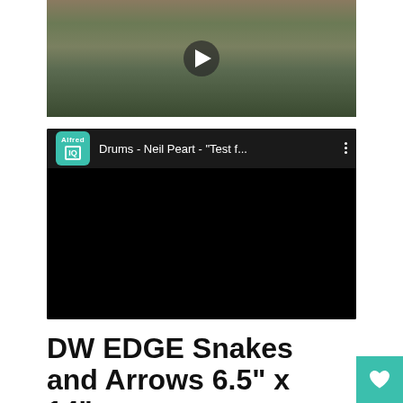[Figure (screenshot): Video thumbnail showing a large crowd of people with a play button overlay in the center]
[Figure (screenshot): YouTube video embed with Alfred IQ logo and title 'Drums - Neil Peart - "Test f...' with three-dot menu, black video area below]
DW EDGE Snakes and Arrows 6.5" x 14"